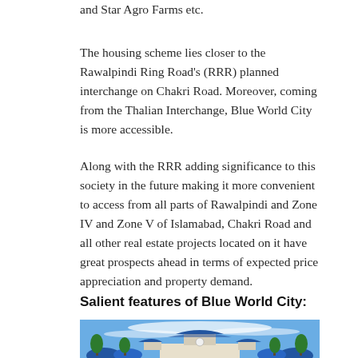and Star Agro Farms etc.
The housing scheme lies closer to the Rawalpindi Ring Road's (RRR) planned interchange on Chakri Road. Moreover, coming from the Thalian Interchange, Blue World City is more accessible.
Along with the RRR adding significance to this society in the future making it more convenient to access from all parts of Rawalpindi and Zone IV and Zone V of Islamabad, Chakri Road and all other real estate projects located on it have great prospects ahead in terms of expected price appreciation and property demand.
Salient features of Blue World City:
[Figure (photo): Photograph of Blue World City entrance gate with Chinese-style architecture, blue roofing, a clock, and a blue sky with white clouds in the background. Palm trees and blue domes visible at the sides.]